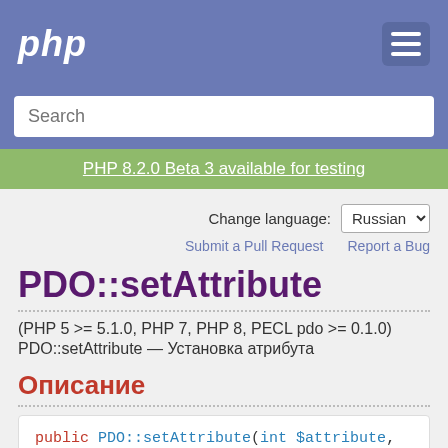php
Search
PHP 8.2.0 Beta 3 available for testing
Change language: Russian
Submit a Pull Request   Report a Bug
PDO::setAttribute
(PHP 5 >= 5.1.0, PHP 7, PHP 8, PECL pdo >= 0.1.0)
PDO::setAttribute — Установка атрибута
Описание
public PDO::setAttribute(int $attribute,